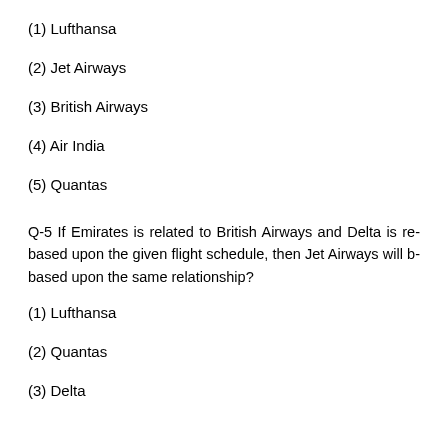(1) Lufthansa
(2) Jet Airways
(3) British Airways
(4) Air India
(5) Quantas
Q-5 If Emirates is related to British Airways and Delta is related based upon the given flight schedule, then Jet Airways will be based upon the same relationship?
(1) Lufthansa
(2) Quantas
(3) Delta